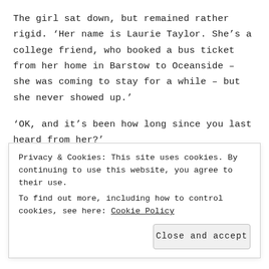The girl sat down, but remained rather rigid. ‘Her name is Laurie Taylor. She’s a college friend, who booked a bus ticket from her home in Barstow to Oceanside – she was coming to stay for a while – but she never showed up.’
‘OK, and it’s been how long since you last heard from her?’
‘Twenty-two days?’
‘Are you in contact with any members of her family?’
‘No, she only had a mother who died a few years ago.’
Privacy & Cookies: This site uses cookies. By continuing to use this website, you agree to their use.
To find out more, including how to control cookies, see here: Cookie Policy